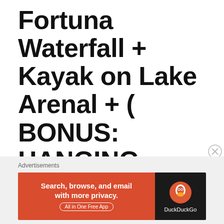Fortuna Waterfall + Kayak on Lake Arenal + ( BONUS: HANGING BRIDGES) + HOT SPRINGS
This was one of the busiest days! The wettest, the most fun and one of my personal faves! So be ready to do a lot this day!
[Figure (other): DuckDuckGo advertisement banner with orange left panel reading 'Search, browse, and email with more privacy. All in One Free App' and dark right panel with DuckDuckGo duck logo and brand name]